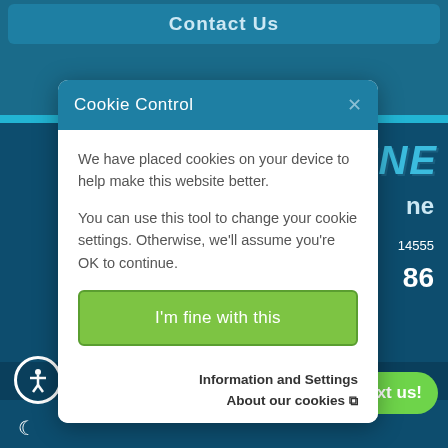[Figure (screenshot): Website screenshot showing a 'Contact Us' button at the top, a cookie consent modal dialog in the center-left, and partial marine company branding/contact info in the background. A 'Text us!' button appears bottom right and an accessibility icon bottom left.]
Contact Us
Cookie Control
We have placed cookies on your device to help make this website better.

You can use this tool to change your cookie settings. Otherwise, we'll assume you're OK to continue.
I'm fine with this
Information and Settings
About our cookies
315-483-6989